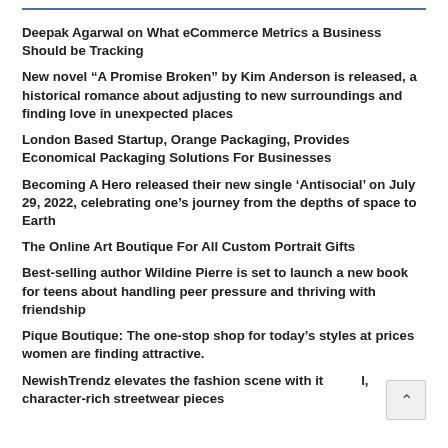Deepak Agarwal on What eCommerce Metrics a Business Should be Tracking
New novel “A Promise Broken” by Kim Anderson is released, a historical romance about adjusting to new surroundings and finding love in unexpected places
London Based Startup, Orange Packaging, Provides Economical Packaging Solutions For Businesses
Becoming A Hero released their new single ‘Antisocial’ on July 29, 2022, celebrating one’s journey from the depths of space to Earth
The Online Art Boutique For All Custom Portrait Gifts
Best-selling author Wildine Pierre is set to launch a new book for teens about handling peer pressure and thriving with friendship
Pique Boutique: The one-stop shop for today’s styles at prices women are finding attractive.
NewishTrendz elevates the fashion scene with its bold, character-rich streetwear pieces